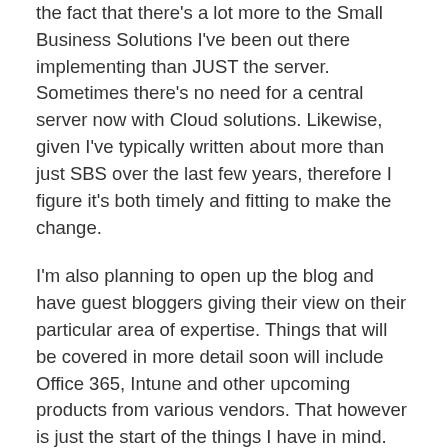the fact that there's a lot more to the Small Business Solutions I've been out there implementing than JUST the server.  Sometimes there's no need for a central server now with Cloud solutions.  Likewise, given I've typically written about more than just SBS over the last few years, therefore I figure it's both timely and fitting to make the change.
I'm also planning to open up the blog and have guest bloggers giving their view on their particular area of expertise.  Things that will be covered in more detail soon will include Office 365, Intune and other upcoming products from various vendors.  That however is just the start of the things I have in mind.
In all this, I'm planning not to alter the URLs that people have come to use and reference.  I know from experience that changing the structure of the website can be painful